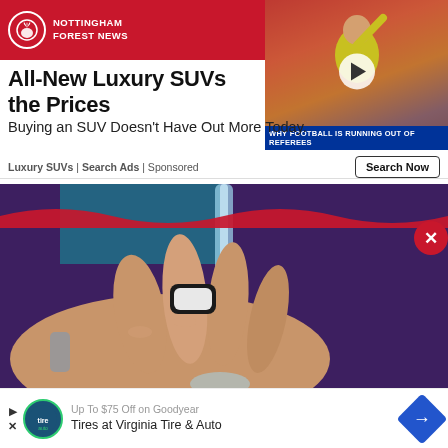[Figure (logo): Nottingham Forest News logo with red background, circular tree icon, and white text]
[Figure (photo): Video thumbnail showing a football referee in yellow shirt raising hand, with crowd in background. Blue banner reads: WHY FOOTBALL IS RUNNING OUT OF REFEREES]
All-New Luxury SUVs the Prices
Buying an SUV Doesn't Have Out More Today.
Luxury SUVs | Search Ads | Sponsored
[Figure (photo): Close-up photo of a hand with a black and white device/ring on the finger under running water, against a purple/dark background]
[Figure (photo): Bottom advertisement showing Goodyear/Virginia Tire & Auto ad with circular logo and navigation arrow icon]
Up To $75 Off on Goodyear Tires at Virginia Tire & Auto